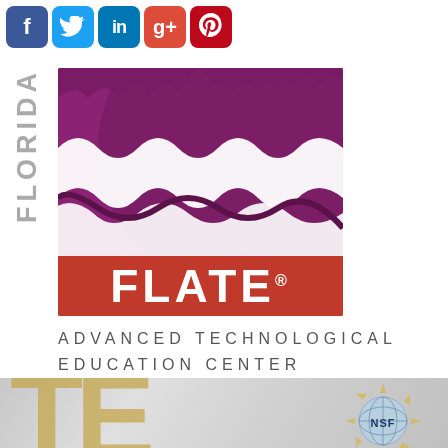[Figure (logo): Social media icons row: Facebook (blue), Twitter (light blue), LinkedIn (blue), Google+ (red), Pinterest (red)]
[Figure (logo): Florida FLATE - Advanced Technological Education Center logo. Purple gear graphic with white zigzag pattern, FLATE text in white on red banner, FLORIDA vertically on left in gray, with tagline ADVANCED TECHNOLOGICAL EDUCATION CENTER below.]
[Figure (logo): Bottom section showing partial TE letters in gold on brushed metal background and NSF (National Science Foundation) logo with globe and sunburst design.]